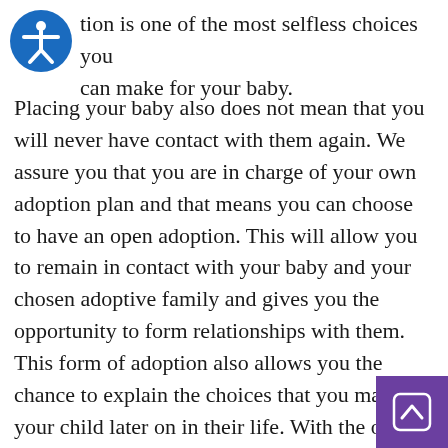tion is one of the most selfless choices you can make for your baby.
Placing your baby also does not mean that you will never have contact with them again. We assure you that you are in charge of your own adoption plan and that means you can choose to have an open adoption. This will allow you to remain in contact with your baby and your chosen adoptive family and gives you the opportunity to form relationships with them. This form of adoption also allows you the chance to explain the choices that you made to your child later on in their life. With the option of choosing an open adoption plan, your child wi